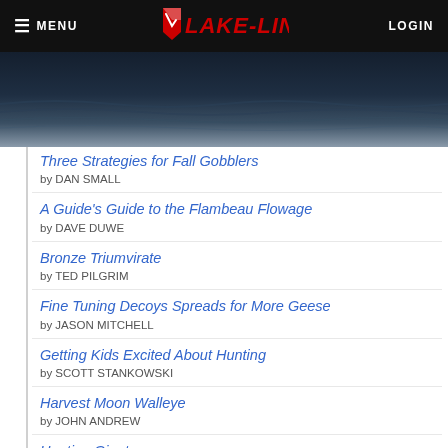MENU  LAKE-LINK  LOGIN
[Figure (photo): Dark blue lake/water banner image with rippled water surface]
Three Strategies for Fall Gobblers by DAN SMALL
A Guide's Guide to the Flambeau Flowage by DAVE DUWE
Bronze Triumvirate by TED PILGRIM
Fine Tuning Decoys Spreads for More Geese by JASON MITCHELL
Getting Kids Excited About Hunting by SCOTT STANKOWSKI
Harvest Moon Walleye by JOHN ANDREW
Hunting Giants by JASON FREED